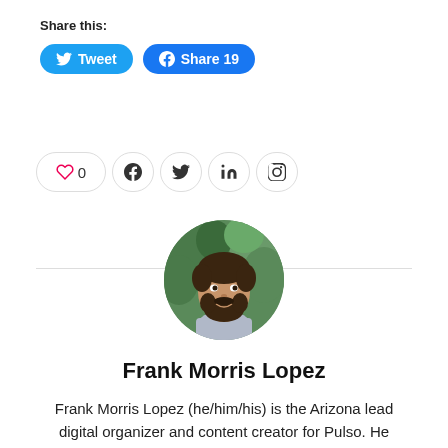Share this:
[Figure (screenshot): Social share buttons: blue Tweet button with Twitter bird icon, and blue Share 19 button with Facebook icon]
[Figure (screenshot): Social reaction row: heart like button showing 0, Facebook icon button, Twitter icon button, LinkedIn icon button, Pinterest icon button]
[Figure (photo): Circular profile photo of Frank Morris Lopez, a man with dark hair and beard, smiling, with green foliage in background]
Frank Morris Lopez
Frank Morris Lopez (he/him/his) is the Arizona lead digital organizer and content creator for Pulso. He